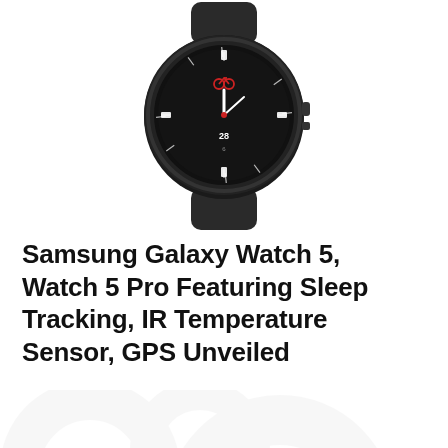[Figure (photo): Samsung Galaxy Watch 5 Pro smartwatch in dark/graphite color, shown from front at slight angle. Round watch face with dark dial, white hour markers, red bicycle icon, and number 28 visible. Black rubber band.]
Samsung Galaxy Watch 5, Watch 5 Pro Featuring Sleep Tracking, IR Temperature Sensor, GPS Unveiled